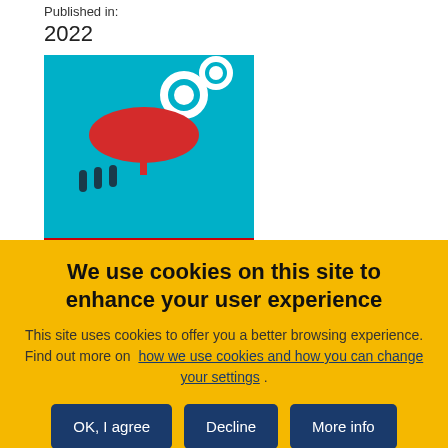Published in:
2022
[Figure (illustration): Book cover for 'Conference on Health challenges in the EU in the pandemic context' report, featuring a teal background with white gear icons, figures holding a red umbrella, and a European Commission logo at the bottom.]
The path to our industrial future
We use cookies on this site to enhance your user experience
This site uses cookies to offer you a better browsing experience. Find out more on how we use cookies and how you can change your settings .